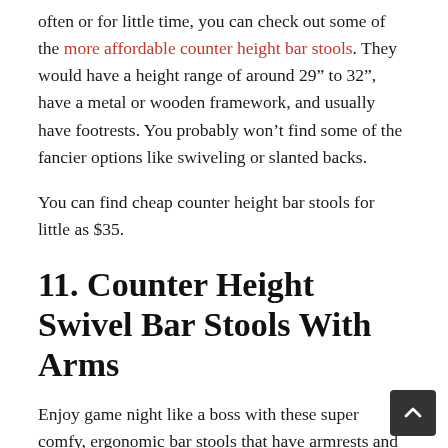often or for little time, you can check out some of the more affordable counter height bar stools. They would have a height range of around 29" to 32", have a metal or wooden framework, and usually have footrests. You probably won't find some of the fancier options like swiveling or slanted backs.
You can find cheap counter height bar stools for little as $35.
11. Counter Height Swivel Bar Stools With Arms
Enjoy game night like a boss with these super comfy, ergonomic bar stools that have armrests and ability to swivel! Features are similar to a regular counter height swivel bar stool; the height is around 29-32". Most of the models counter height swivel bar stools have metal frameworks and